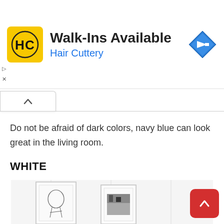[Figure (infographic): Hair Cuttery advertisement banner with yellow logo showing HC, text 'Walk-Ins Available' and 'Hair Cuttery' in blue, and a blue navigation diamond icon on the right]
[Figure (other): A collapse/hide arrow button (chevron up) on a white rounded tab]
Do not be afraid of dark colors, navy blue can look great in the living room.
WHITE
[Figure (photo): White wall with white-framed artwork/drawings hung on it, showing a portrait sketch and a dark landscape sketch]
[Figure (other): Red scroll-to-top button with upward arrow]